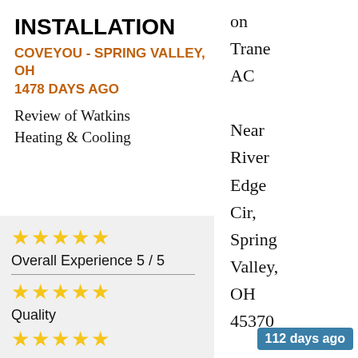INSTALLATION
COVEYOU - SPRING VALLEY, OH
1478 DAYS AGO
Review of Watkins Heating & Cooling
on Trane AC Near River Edge Cir, Spring Valley, OH 45370
Overall Experience 5 / 5
Quality
112 days ago